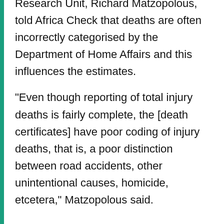Research Unit, Richard Matzopolous, told Africa Check that deaths are often incorrectly categorised by the Department of Home Affairs and this influences the estimates.
"Even though reporting of total injury deaths is fairly complete, the [death certificates] have poor coding of injury deaths, that is, a poor distinction between road accidents, other unintentional causes, homicide, etcetera," Matzopolous said.